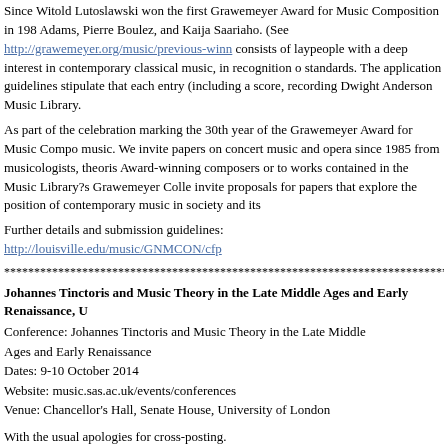Since Witold Lutoslawski won the first Grawemeyer Award for Music Composition in 198... Adams, Pierre Boulez, and Kaija Saariaho. (See http://grawemeyer.org/music/previous-winn... consists of laypeople with a deep interest in contemporary classical music, in recognition o... standards. The application guidelines stipulate that each entry (including a score, recording... Dwight Anderson Music Library.
As part of the celebration marking the 30th year of the Grawemeyer Award for Music Compo... music. We invite papers on concert music and opera since 1985 from musicologists, theoris... Award-winning composers or to works contained in the Music Library?s Grawemeyer Colle... invite proposals for papers that explore the position of contemporary music in society and its
Further details and submission guidelines: http://louisville.edu/music/GNMCON/cfp
****************************************************************************************************
Johannes Tinctoris and Music Theory in the Late Middle Ages and Early Renaissance, U
Conference: Johannes Tinctoris and Music Theory in the Late Middle
Ages and Early Renaissance
Dates: 9-10 October 2014
Website: music.sas.ac.uk/events/conferences
Venue: Chancellor's Hall, Senate House, University of London
With the usual apologies for cross-posting.
Registration for this two-day conference is now open. The conference programme is available... a reduced rate of £50 is available to students and the unwaged. The deadline for booking is Th